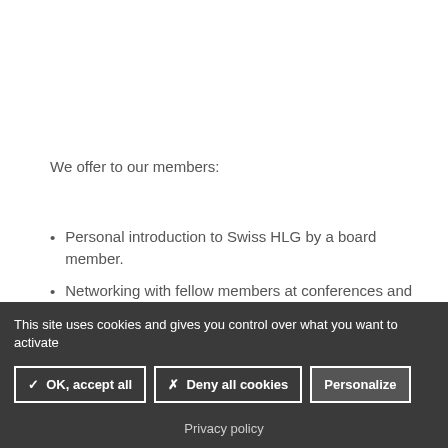We offer to our members:
Personal introduction to Swiss HLG by a board member.
Networking with fellow members at conferences and other networking events.
This site uses cookies and gives you control over what you want to activate
✓ OK, accept all | ✗ Deny all cookies | Personalize
Privacy policy